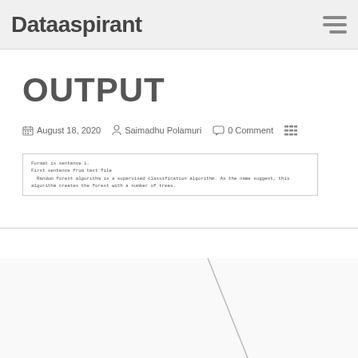Dataaspirant
OUTPUT
August 18, 2020   Saimadhu Polamuri   0 Comment
Format is sentence 1.
First sentence from text file
Random forest algorithm is a supervised classification algorithm. As the name suggest, this algorithm creates the forest with a number of trees.
[Figure (other): Diagonal line graphic element in the bottom section]